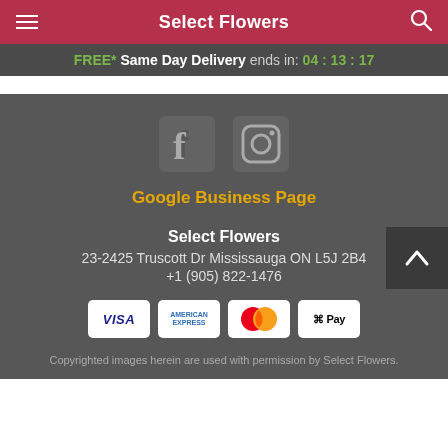Select Flowers
FREE* Same Day Delivery ends in: 04:13:17
[Figure (logo): Facebook and Instagram social media icons in gray]
Google Business Page
Select Flowers
23-2425 Truscott Dr Mississauga ON L5J 2B4
+1 (905) 822-1476
[Figure (logo): Payment method logos: VISA, American Express, Mastercard, Apple Pay]
Copyrighted images herein are used with permission by Select Flowers.